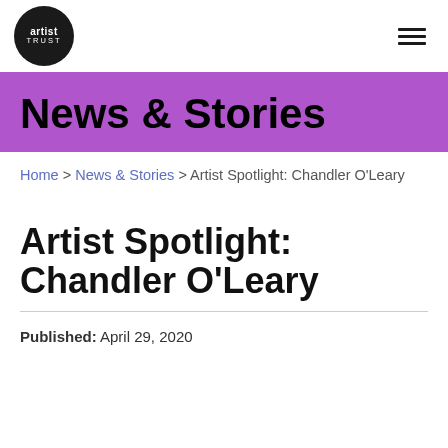artist trust [logo] [hamburger menu]
News & Stories
Home > News & Stories > Artist Spotlight: Chandler O'Leary
Artist Spotlight: Chandler O'Leary
Published: April 29, 2020